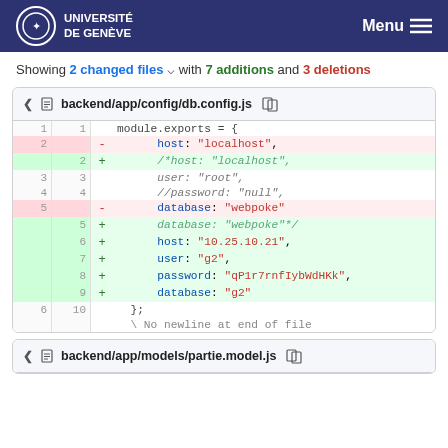UNIVERSITÉ DE GENÈVE  Menu
Showing 2 changed files with 7 additions and 3 deletions
[Figure (screenshot): Git diff view of backend/app/config/db.config.js showing 3 deletions (lines 2 and 5) and 7 additions (lines 2 and 5-9 new), including host changed from localhost to 10.25.10.21, user to g2, password to qP1r7rnfIybWdHKk, and database to g2.]
[Figure (screenshot): Git diff view header for backend/app/models/partie.model.js]